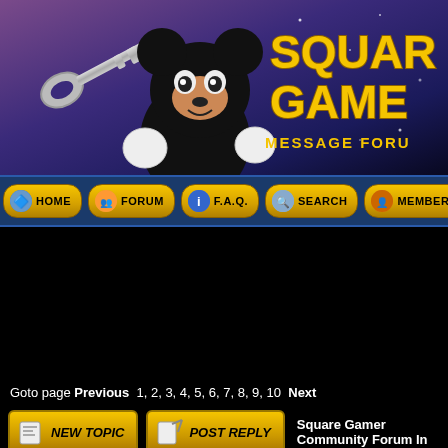[Figure (screenshot): Square Gamer forum banner with Mickey Mouse holding a key, purple/space background, yellow logo text 'SQUARE GAMER MESSAGE FORUM']
[Figure (screenshot): Navigation bar with buttons: HOME, FORUM, F.A.Q., SEARCH, MEMBERS on dark blue background with golden buttons]
Goto page Previous  1, 2, 3, 4, 5, 6, 7, 8, 9, 10  Next
[Figure (screenshot): NEW TOPIC and POST REPLY buttons, followed by text 'Square Gamer Community Forum In']
| Author |  |
| --- | --- |
| ● WaWard
Joined: 08 Sep 2004
Total posts: 17881 | Posted: Wed May 25, 2005 3:26 am   Post subject:
Click to reveal hidden content |